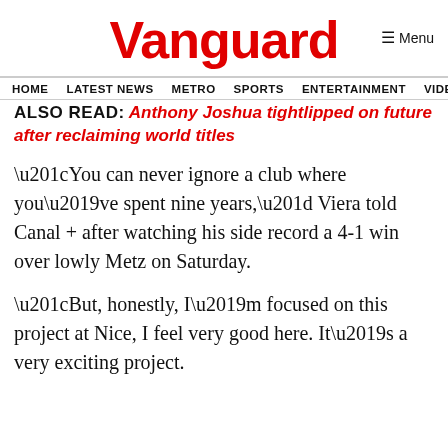Vanguard
HOME  LATEST NEWS  METRO  SPORTS  ENTERTAINMENT  VIDEOS
ALSO READ: Anthony Joshua tightlipped on future after reclaiming world titles
“You can never ignore a club where you’ve spent nine years,” Viera told Canal + after watching his side record a 4-1 win over lowly Metz on Saturday.
“But, honestly, I’m focused on this project at Nice, I feel very good here. It’s a very exciting project.